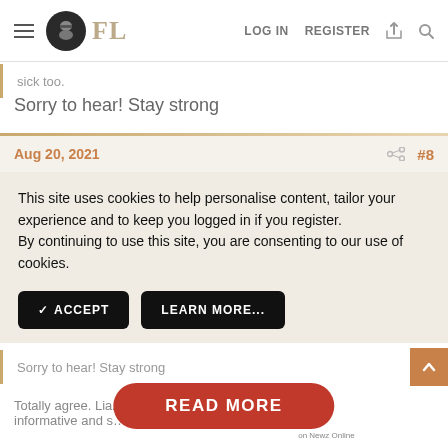FL  LOG IN  REGISTER
sick too.
Sorry to hear! Stay strong
Aug 20, 2021  #8
This site uses cookies to help personalise content, tailor your experience and to keep you logged in if you register.
By continuing to use this site, you are consenting to our use of cookies.
✓ ACCEPT
LEARN MORE...
Sorry to hear! Stay strong
Totally agree. Li… articulate, so… informative and s… forget
[Figure (other): READ MORE button overlay from Newz Online]